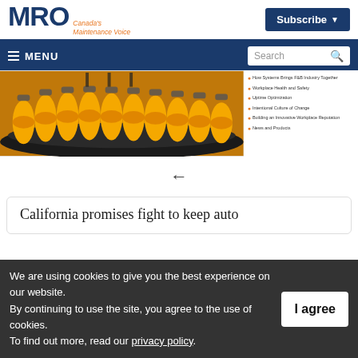MRO Canada's Maintenance Voice | Subscribe
≡ MENU | Search
[Figure (photo): Orange juice bottles on a conveyor belt, with a sidebar list of article topics]
←
California promises fight to keep auto
We are using cookies to give you the best experience on our website.
By continuing to use the site, you agree to the use of cookies.
To find out more, read our privacy policy.